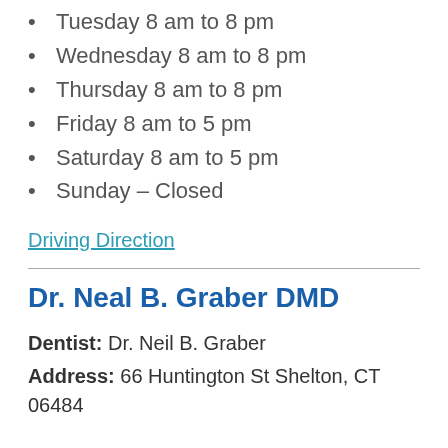Tuesday 8 am to 8 pm
Wednesday 8 am to 8 pm
Thursday 8 am to 8 pm
Friday 8 am to 5 pm
Saturday 8 am to 5 pm
Sunday – Closed
Driving Direction
Dr. Neal B. Graber DMD
Dentist: Dr. Neil B. Graber
Address: 66 Huntington St Shelton, CT 06484